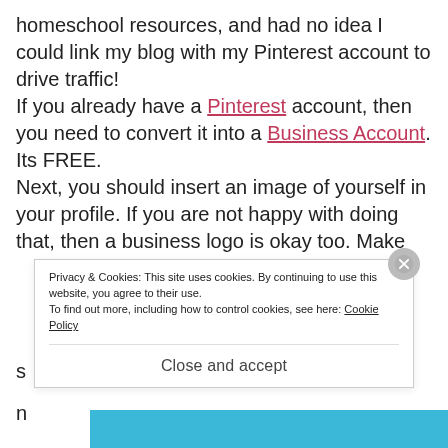homeschool resources, and had no idea I could link my blog with my Pinterest account to drive traffic! If you already have a Pinterest account, then you need to convert it into a Business Account. Its FREE. Next, you should insert an image of yourself in your profile. If you are not happy with doing that, then a business logo is okay too. Make s... n...
Privacy & Cookies: This site uses cookies. By continuing to use this website, you agree to their use. To find out more, including how to control cookies, see here: Cookie Policy
Close and accept